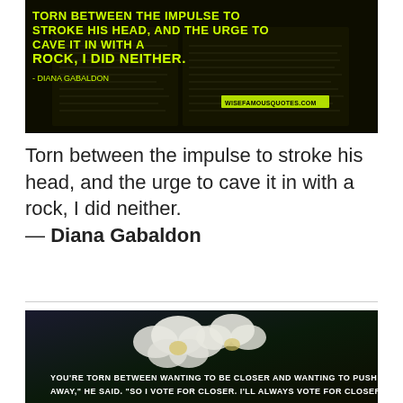[Figure (photo): Dark background image of an open book with yellow neon text overlay reading: 'TORN BETWEEN THE IMPULSE TO STROKE HIS HEAD, AND THE URGE TO CAVE IT IN WITH A ROCK, I DID NEITHER.' with attribution '- DIANA GABALDON' and watermark 'WISEFAMOUSQUOTES.COM']
Torn between the impulse to stroke his head, and the urge to cave it in with a rock, I did neither.
— Diana Gabaldon
[Figure (photo): Dark background image with white flowers and white text overlay: 'YOU'RE TORN BETWEEN WANTING TO BE CLOSER AND WANTING TO PUSH ME AWAY,' HE SAID. 'SO I VOTE FOR CLOSER. I'LL ALWAYS VOTE FOR CLOSER.']